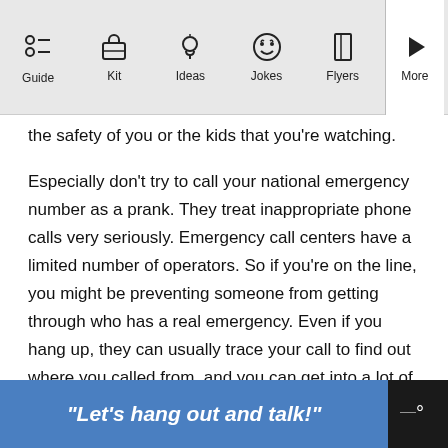Guide | Kit | Ideas | Jokes | Flyers | More
the safety of you or the kids that you're watching.
Especially don't try to call your national emergency number as a prank. They treat inappropriate phone calls very seriously. Emergency call centers have a limited number of operators. So if you're on the line, you might be preventing someone from getting through who has a real emergency. Even if you hang up, they can usually trace your call to find out where you called from, and you can get into a lot of trouble.
Potentially avoid some emergency situations by
[Figure (screenshot): Advertisement banner: "Let's hang out and talk!" in italic white text on blue background with dark logo area on right]